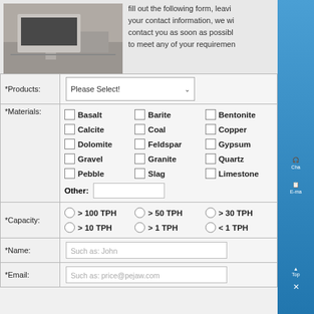[Figure (photo): Partial photo showing computer/office equipment on a desk]
fill out the following form, leaving your contact information, we will contact you as soon as possible to meet any of your requirements
| *Products: | Please Select! ▾ |
| *Materials: | Basalt, Barite, Bentonite, Calcite, Coal, Copper, Dolomite, Feldspar, Gypsum, Gravel, Granite, Quartz, Pebble, Slag, Limestone, Other: [input] |
| *Capacity: | > 100 TPH, > 50 TPH, > 30 TPH, > 10 TPH, > 1 TPH, < 1 TPH |
| *Name: | Such as: John |
| *Email: | Such as: price@pejaw.com |